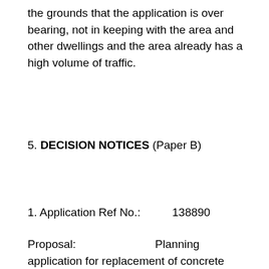the grounds that the application is over bearing, not in keeping with the area and other dwellings and the area already has a high volume of traffic.
5. DECISION NOTICES (Paper B)
1. Application Ref No.:          138890
Proposal:                        Planning application for replacement of concrete cladding with aluminium cladding system, replacement of single glazed metal frames for fixed and opening lights, and overal...